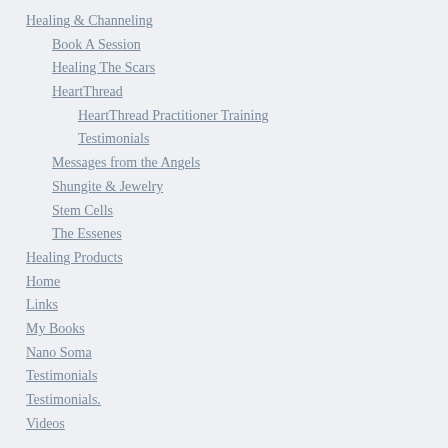Healing & Channeling
Book A Session
Healing The Scars
HeartThread
HeartThread Practitioner Training
Testimonials
Messages from the Angels
Shungite & Jewelry
Stem Cells
The Essenes
Healing Products
Home
Links
My Books
Nano Soma
Testimonials
Testimonials.
Videos